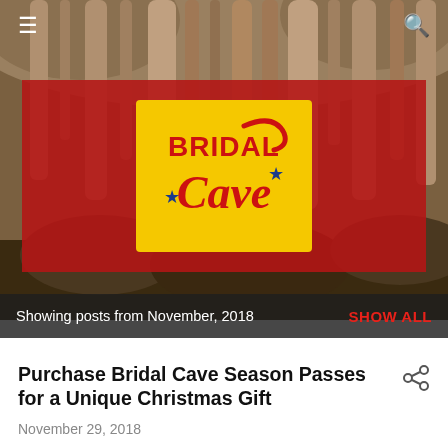[Figure (photo): Cave stalactites background photo with Bridal Cave logo on red banner overlay]
☰  🔍
Showing posts from November, 2018  SHOW ALL
Purchase Bridal Cave Season Passes for a Unique Christmas Gift
November 29, 2018
Get your Bridal Cave Season Passes for a unique Christmas gift…